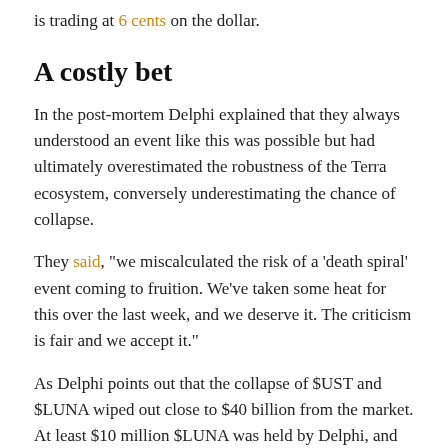is trading at 6 cents on the dollar.
A costly bet
In the post-mortem Delphi explained that they always understood an event like this was possible but had ultimately overestimated the robustness of the Terra ecosystem, conversely underestimating the chance of collapse.
They said, “we miscalculated the risk of a ‘death spiral’ event coming to fruition. We’ve taken some heat for this over the last week, and we deserve it. The criticism is fair and we accept it.”
As Delphi points out that the collapse of $UST and $LUNA wiped out close to $40 billion from the market. At least $10 million $LUNA was held by Delphi, and must now be written off.
“This is arguably the most catastrophic